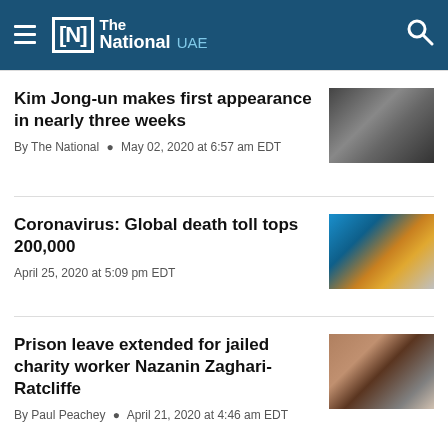The National UAE
Kim Jong-un makes first appearance in nearly three weeks
By The National • May 02, 2020 at 6:57 am EDT
[Figure (photo): People in dark clothing standing in a group, appearing to be officials or military personnel]
Coronavirus: Global death toll tops 200,000
April 25, 2020 at 5:09 pm EDT
[Figure (photo): Gloved hands (blue medical gloves) handling something, medical context]
Prison leave extended for jailed charity worker Nazanin Zaghari-Ratcliffe
By Paul Peachey • April 21, 2020 at 4:46 am EDT
[Figure (photo): A woman sitting, wearing a dark top, indoor setting]